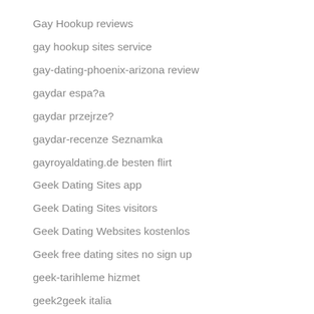Gay Hookup reviews
gay hookup sites service
gay-dating-phoenix-arizona review
gaydar espa?a
gaydar przejrze?
gaydar-recenze Seznamka
gayroyaldating.de besten flirt
Geek Dating Sites app
Geek Dating Sites visitors
Geek Dating Websites kostenlos
Geek free dating sites no sign up
geek-tarihleme hizmet
geek2geek italia
Geek2Geek review